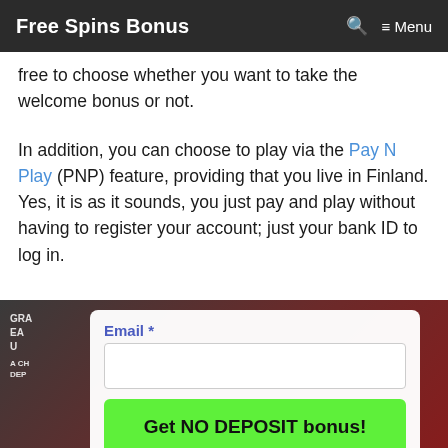Free Spins Bonus  🔍  ≡ Menu
free to choose whether you want to take the welcome bonus or not.
In addition, you can choose to play via the Pay N Play (PNP) feature, providing that you live in Finland. Yes, it is as it sounds, you just pay and play without having to register your account; just your bank ID to log in.
[Figure (screenshot): Screenshot of a casino registration form showing an Email field with a label 'Email *' and a bright green button labeled 'Get NO DEPOSIT bonus!' overlaid on a dark casino background.]